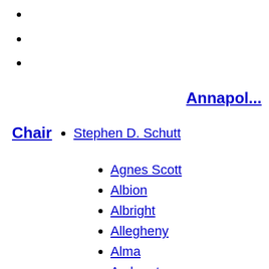Annapol...
Chair
Stephen D. Schutt
Agnes Scott
Albion
Albright
Allegheny
Alma
Amherst
Atlantic
Augustana
Austin
Bard
Barnard
Bates
Beloit
Bennington
Berea
Berry
Birmingham-Southern
Bowdoin